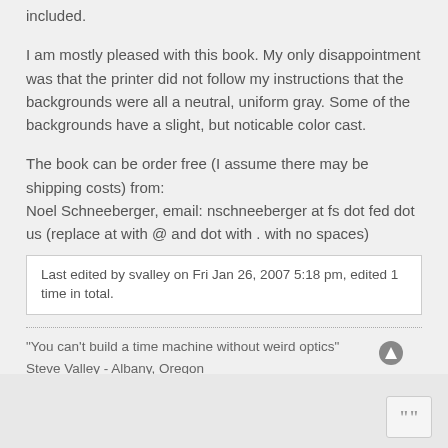included.
I am mostly pleased with this book. My only disappointment was that the printer did not follow my instructions that the backgrounds were all a neutral, uniform gray. Some of the backgrounds have a slight, but noticable color cast.
The book can be order free (I assume there may be shipping costs) from:
Noel Schneeberger, email: nschneeberger at fs dot fed dot us (replace at with @ and dot with . with no spaces)
Last edited by svalley on Fri Jan 26, 2007 5:18 pm, edited 1 time in total.
"You can't build a time machine without weird optics"
Steve Valley - Albany, Oregon
[Figure (other): Quote icon button in bottom right corner]